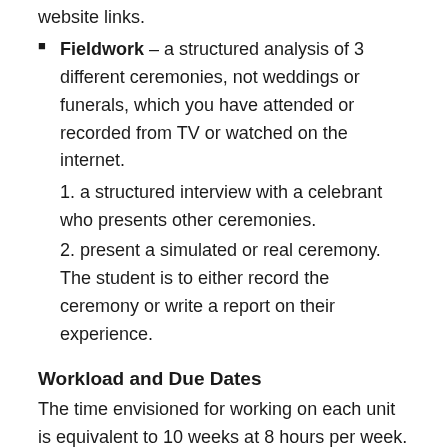website links.
Fieldwork – a structured analysis of 3 different ceremonies, not weddings or funerals, which you have attended or recorded from TV or watched on the internet.
1. a structured interview with a celebrant who presents other ceremonies.
2. present a simulated or real ceremony. The student is to either record the ceremony or write a report on their experience.
Workload and Due Dates
The time envisioned for working on each unit is equivalent to 10 weeks at 8 hours per week. The College has not set dates for submission of individual items. However, unless special permission to extend is granted, this module is to be completed within 6 months. Temporary suspensions of